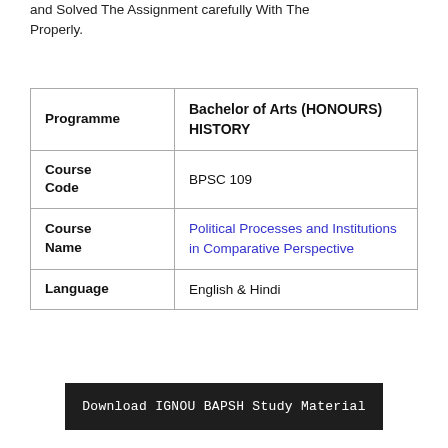and Solved The Assignment carefully With The Properly.
|  |  |
| --- | --- |
| Programme | Bachelor of Arts (HONOURS) HISTORY |
| Course Code | BPSC 109 |
| Course Name | Political Processes and Institutions in Comparative Perspective |
| Language | English & Hindi |
Download IGNOU BAPSH Study Material